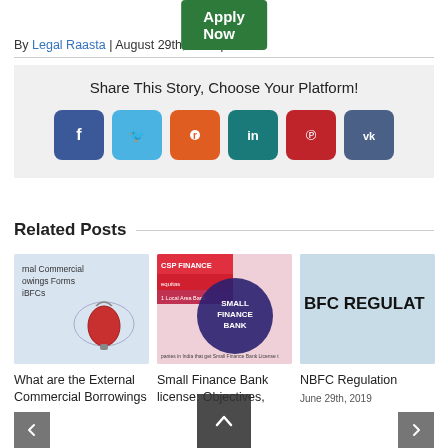[Figure (other): Green 'Apply Now' button]
By Legal Raasta | August 29th, 2018 | NBFC
Share This Story, Choose Your Platform!
[Figure (infographic): Social media sharing icons: Facebook, Twitter, Reddit, LinkedIn, Pinterest, VK]
Related Posts
[Figure (photo): Thumbnail for External Commercial Borrowings Forms for NBFCs post]
What are the External Commercial Borrowings
[Figure (photo): Thumbnail for Small Finance Bank license post]
Small Finance Bank license: Objectives,
[Figure (photo): Thumbnail for NBFC Regulation post]
NBFC Regulation
June 29th, 2019